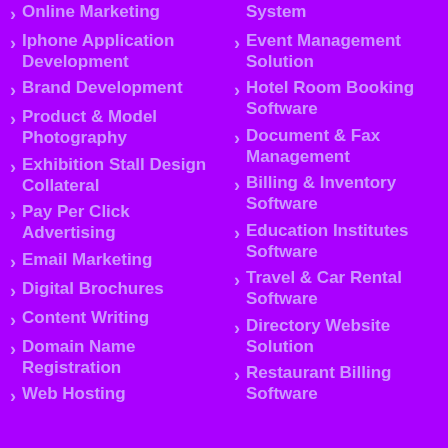Online Marketing
Iphone Application Development
Brand Development
Product & Model Photography
Exhibition Stall Design Collateral
Pay Per Click Advertising
Email Marketing
Digital Brochures
Content Writing
Domain Name Registration
Web Hosting
System
Event Management Solution
Hotel Room Booking Software
Document & Fax Management
Billing & Inventory Software
Education Institutes Software
Travel & Car Rental Software
Directory Website Solution
Restaurant Billing Software